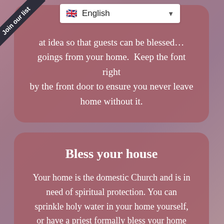Join our list
English
at idea so that guests can be blessed ... goings from your home. Keep the font right by the front door to ensure you never leave home without it.
Bless your house
Your home is the domestic Church and is in need of spiritual protection. You can sprinkle holy water in your home yourself, or have a priest formally bless your home